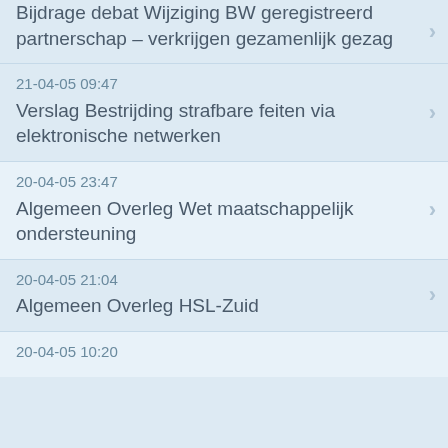Bijdrage debat Wijziging BW geregistreerd partnerschap – verkrijgen gezamenlijk gezag
21-04-05 09:47
Verslag Bestrijding strafbare feiten via elektronische netwerken
20-04-05 23:47
Algemeen Overleg Wet maatschappelijk ondersteuning
20-04-05 21:04
Algemeen Overleg HSL-Zuid
20-04-05 10:20